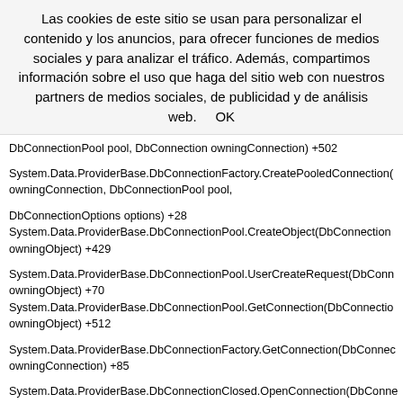Las cookies de este sitio se usan para personalizar el contenido y los anuncios, para ofrecer funciones de medios sociales y para analizar el tráfico. Además, compartimos información sobre el uso que haga del sitio web con nuestros partners de medios sociales, de publicidad y de análisis web.    OK
DbConnectionPool pool, DbConnection owningConnection) +502
System.Data.ProviderBase.DbConnectionFactory.CreatePooledConnection( owningConnection, DbConnectionPool pool,
DbConnectionOptions options) +28
System.Data.ProviderBase.DbConnectionPool.CreateObject(DbConnection owningObject) +429
System.Data.ProviderBase.DbConnectionPool.UserCreateRequest(DbConn owningObject) +70
System.Data.ProviderBase.DbConnectionPool.GetConnection(DbConnectio owningObject) +512
System.Data.ProviderBase.DbConnectionFactory.GetConnection(DbConne owningConnection) +85
System.Data.ProviderBase.DbConnectionClosed.OpenConnection(DbConne outerConnection, DbConnectionFactory
connectionFactory) +89
System.Data.SqlClient.SqlConnection.Open() +159